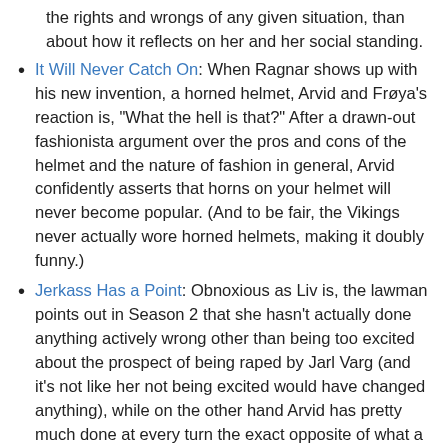the rights and wrongs of any given situation, than about how it reflects on her and her social standing.
It Will Never Catch On: When Ragnar shows up with his new invention, a horned helmet, Arvid and Frøya's reaction is, "What the hell is that?" After a drawn-out fashionista argument over the pros and cons of the helmet and the nature of fashion in general, Arvid confidently asserts that horns on your helmet will never become popular. (And to be fair, the Vikings never actually wore horned helmets, making it doubly funny.)
Jerkass Has a Point: Obnoxious as Liv is, the lawman points out in Season 2 that she hasn't actually done anything actively wrong other than being too excited about the prospect of being raped by Jarl Varg (and it's not like her not being excited would have changed anything), while on the other hand Arvid has pretty much done at every turn the exact opposite of what a good husband should have.